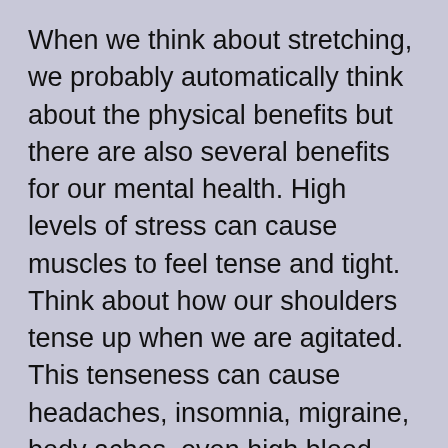When we think about stretching, we probably automatically think about the physical benefits but there are also several benefits for our mental health. High levels of stress can cause muscles to feel tense and tight. Think about how our shoulders tense up when we are agitated. This tenseness can cause headaches, insomnia, migraine, body aches, even high blood pressure. Stretching our muscles helps them to relax and eases the stress we are feeling.
Stretching also boosts levels of endorphins,